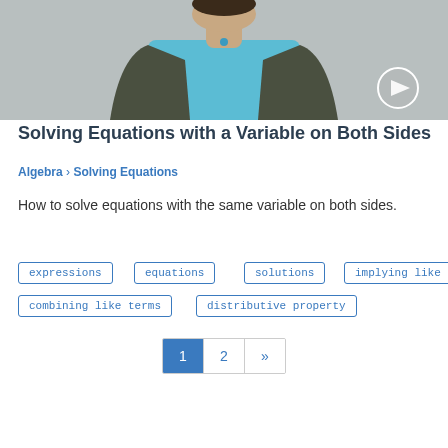[Figure (photo): Video thumbnail showing a person wearing a dark jacket over a blue shirt, with a circular play button overlay in the lower right corner. Gray background.]
Solving Equations with a Variable on Both Sides
Algebra › Solving Equations
How to solve equations with the same variable on both sides.
expressions
equations
solutions
implying like terms
combining like terms
distributive property
1  2  »